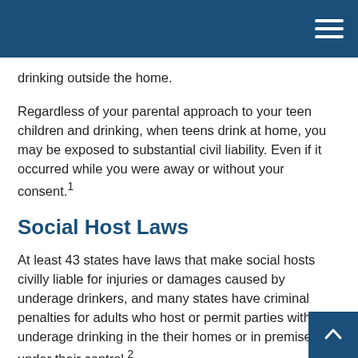drinking outside the home.
Regardless of your parental approach to your teen children and drinking, when teens drink at home, you may be exposed to substantial civil liability. Even if it occurred while you were away or without your consent.1
Social Host Laws
At least 43 states have laws that make social hosts civilly liable for injuries or damages caused by underage drinkers, and many states have criminal penalties for adults who host or permit parties with underage drinking in the their homes or in premises under their control.2
State laws vary, so the precise circumstances under which you may be held liable will depend upon the state in which